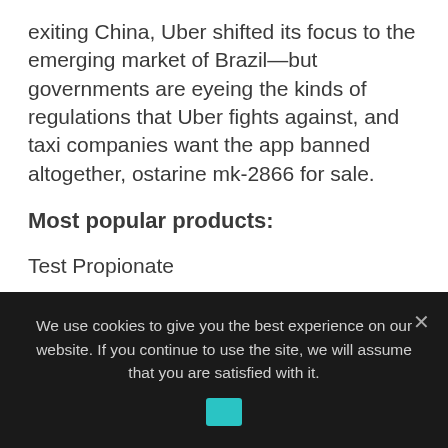exiting China, Uber shifted its focus to the emerging market of Brazil—but governments are eyeing the kinds of regulations that Uber fights against, and taxi companies want the app banned altogether, ostarine mk-2866 for sale.
Most popular products:
Test Propionate
DECAN P 150 mg Para Pharma $47.00
We use cookies to give you the best experience on our website. If you continue to use the site, we will assume that you are satisfied with it.